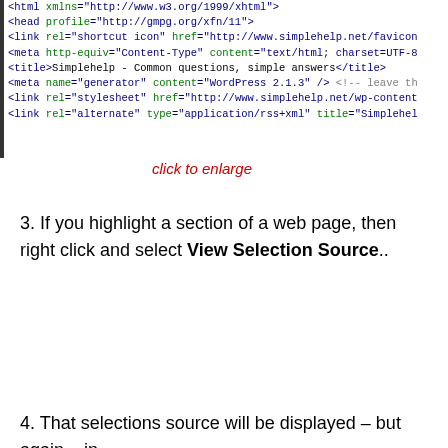[Figure (screenshot): Screenshot of HTML source code showing lines including html, head, link, meta, title, and link tags with syntax highlighting in monospace font]
click to enlarge
3. If you highlight a section of a web page, then right click and select View Selection Source..
4. That selections source will be displayed – but again – in